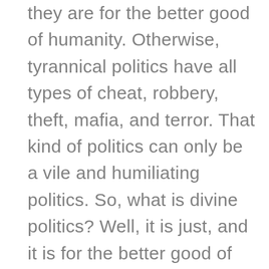they are for the better good of humanity. Otherwise, tyrannical politics have all types of cheat, robbery, theft, mafia, and terror. That kind of politics can only be a vile and humiliating politics. So, what is divine politics? Well, it is just, and it is for the better good of everyone. This is just politics we're talking about, and its opposite is tyrannical politics. The political setting in Islam is for finding what is best for the better good of humanity and do it. It is to find what is most beneficial. The entirety of Islam is divine politics. They say Islam does not get involved with politics. Yes,